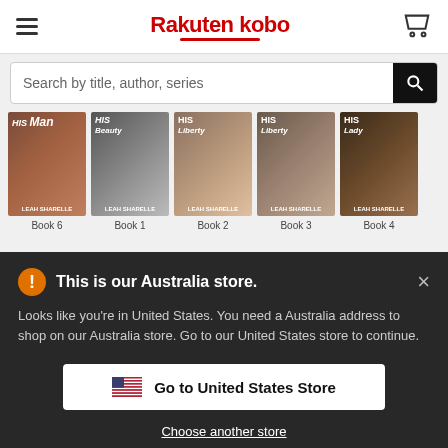Rakuten kobo
Search by title, author, series
[Figure (screenshot): Five romance novel book covers by Leah Sharelle, all titled 'His [something]'. Book 6, Book 1, Book 2, Book 3, Book 4.]
This is our Australia store.
Looks like you're in United States. You need a Australia address to shop on our Australia store. Go to our United States store to continue.
Go to United States Store
Choose another store